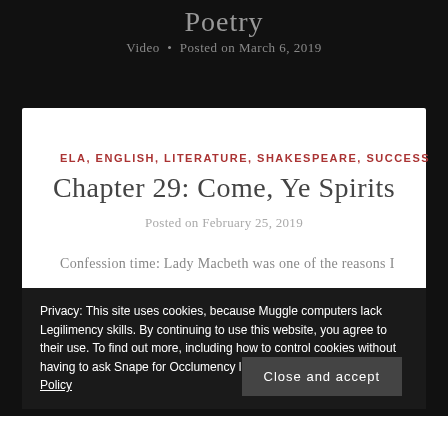Poetry
Video • Posted on March 6, 2019
ELA, ENGLISH, LITERATURE, SHAKESPEARE, SUCCESS
Chapter 29: Come, Ye Spirits
Posted on February 25, 2019
Confession time: Lady Macbeth was one of the reasons I
Privacy: This site uses cookies, because Muggle computers lack Legilimency skills. By continuing to use this website, you agree to their use. To find out more, including how to control cookies without having to ask Snape for Occlumency lessons, click here: Cookie Policy
Close and accept